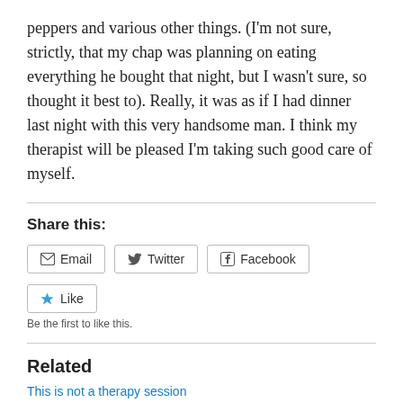peppers and various other things. (I'm not sure, strictly, that my chap was planning on eating everything he bought that night, but I wasn't sure, so thought it best to). Really, it was as if I had dinner last night with this very handsome man. I think my therapist will be pleased I'm taking such good care of myself.
Share this:
Email  Twitter  Facebook
Like
Be the first to like this.
Related
This is not a therapy session